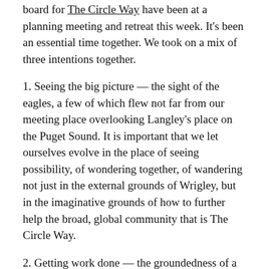board for The Circle Way have been at a planning meeting and retreat this week. It's been an essential time together. We took on a mix of three intentions together.
1. Seeing the big picture — the sight of the eagles, a few of which flew not far from our meeting place overlooking Langley's place on the Puget Sound. It is important that we let ourselves evolve in the place of seeing possibility, of wondering together, of wandering not just in the external grounds of Wrigley, but in the imaginative grounds of how to further help the broad, global community that is The Circle Way.
2. Getting work done — the groundedness of a buffalo. On the earth, in the dirt. Updating webpages. Revisiting budget. Tending to databases. Writing newsletters. It's chop wood and carry water kinds of stuff.